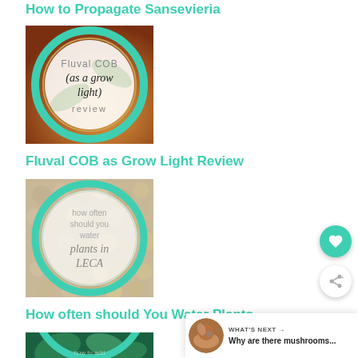How to Propagate Sansevieria
[Figure (illustration): Circular thumbnail image with teal/mint border ring on dark background. Text overlay reads 'Fluval COB (as a grow light) review' in a mix of sans-serif and script fonts.]
Fluval COB as Grow Light Review
[Figure (illustration): Circular thumbnail image with mint border ring on a background of small white/grey clay pebbles (LECA). Text overlay reads 'how often should you water plants in LECA' in a mix of light grey sans-serif and script fonts.]
How often should You Water Plants
[Figure (illustration): Circular thumbnail image with teal border ring, partially visible, showing green plant leaves. Partial text at bottom reads 'how to add'.]
WHAT'S NEXT → Why are there mushrooms...